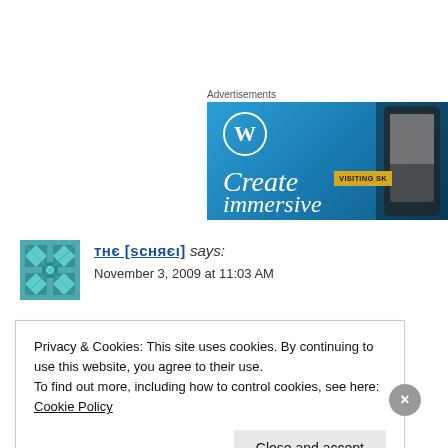Advertisements
[Figure (screenshot): WordPress advertisement banner with blue gradient background, WordPress logo, text 'Create immersive', phone device image, and 'VISITING SK' yellow badge]
тнє [ѕсняєι] says: November 3, 2009 at 11:03 AM
Privacy & Cookies: This site uses cookies. By continuing to use this website, you agree to their use.
To find out more, including how to control cookies, see here: Cookie Policy
Close and accept